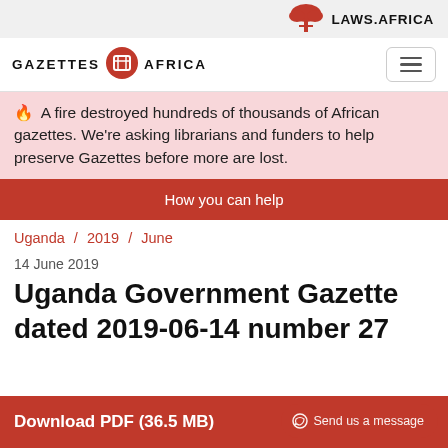[Figure (logo): Laws.Africa logo with red acacia tree icon and bold text LAWS.AFRICA]
[Figure (logo): Gazettes Africa logo with red circle newspaper icon and text GAZETTES AFRICA]
🔥  A fire destroyed hundreds of thousands of African gazettes. We're asking librarians and funders to help preserve Gazettes before more are lost.
How you can help
Uganda / 2019 / June
14 June 2019
Uganda Government Gazette dated 2019-06-14 number 27
Download PDF (36.5 MB)
Send us a message